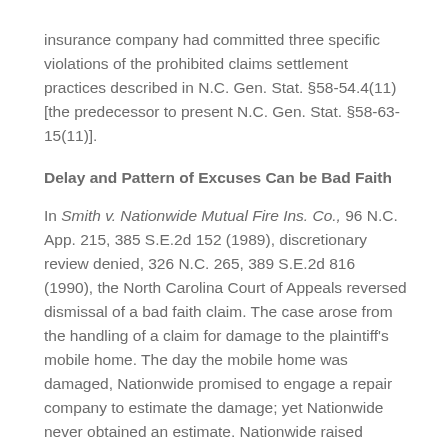insurance company had committed three specific violations of the prohibited claims settlement practices described in N.C. Gen. Stat. §58-54.4(11) [the predecessor to present N.C. Gen. Stat. §58-63-15(11)].
Delay and Pattern of Excuses Can be Bad Faith
In Smith v. Nationwide Mutual Fire Ins. Co., 96 N.C. App. 215, 385 S.E.2d 152 (1989), discretionary review denied, 326 N.C. 265, 389 S.E.2d 816 (1990), the North Carolina Court of Appeals reversed dismissal of a bad faith claim. The case arose from the handling of a claim for damage to the plaintiff's mobile home. The day the mobile home was damaged, Nationwide promised to engage a repair company to estimate the damage; yet Nationwide never obtained an estimate. Nationwide raised additional obstacles which delayed adjustment of the claim; none of those "requirements" was based on provisions of